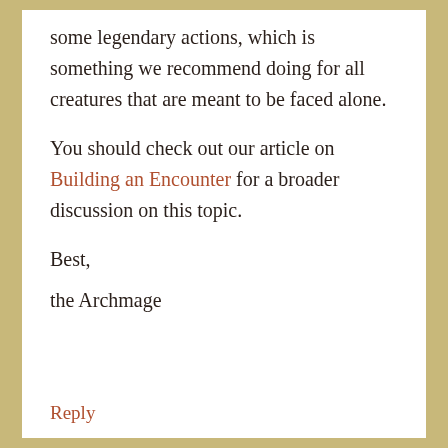some legendary actions, which is something we recommend doing for all creatures that are meant to be faced alone.

You should check out our article on Building an Encounter for a broader discussion on this topic.

Best,
the Archmage
Reply